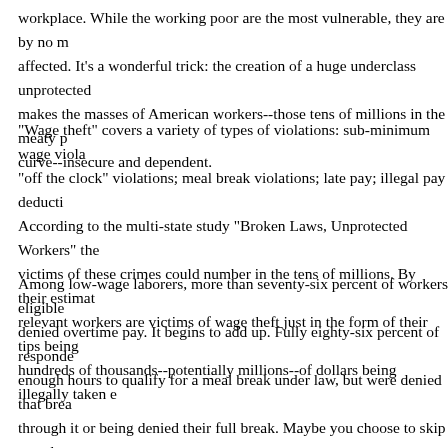workplace. While the working poor are the most vulnerable, they are by no means the only ones affected. It's a wonderful trick: the creation of a huge underclass unprotected by the laws makes the masses of American workers--those tens of millions in the meaty part of the bell curve--insecure and dependent.
"Wage theft" covers a variety of types of violations: sub-minimum wage violations; "off the clock" violations; meal break violations; late pay; illegal pay deductions. According to the multi-state study "Broken Laws, Unprotected Workers" the number of victims of these crimes could number in the tens of millions. By their estimates, 30% of relevant workers are victims of wage theft just in the form of their tips being stolen, with hundreds of thousands--potentially millions--of dollars being illegally taken each week.
Among low-wage laborers, more than seventy-six percent of workers eligible for overtime were denied overtime pay. It begins to add up. Fully eighty-six percent of respondents worked enough hours to qualify for a meal break under law, but were denied that break either working through it or being denied their full break. Maybe you choose to skip your lunch sometimes, but if you were denied the ability to take that break? Would you stand for it? Perhaps you'd threaten to just walk off the job. Surely you understand that many people just don't have that luxury, plain and simple.